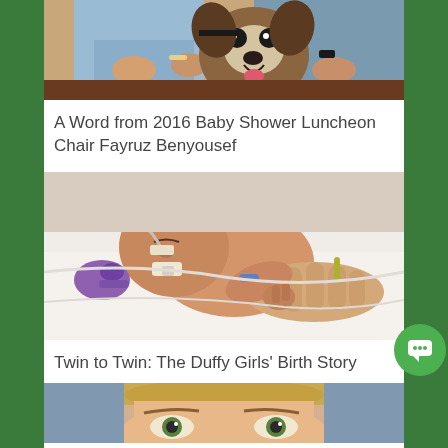[Figure (photo): Top portion of a photo showing two people in light blue clothing sitting with a boxer dog on what appears to be a couch or floor]
A Word from 2016 Baby Shower Luncheon Chair Fayruz Benyousef
[Figure (photo): A newborn baby in what appears to be a NICU or hospital setting, with a purple pacifier and medical tubes/devices attached, with an adult hand visible]
Twin to Twin: The Duffy Girls' Birth Story
[Figure (photo): Partial photo of a child's face at the bottom of the page, cropped]